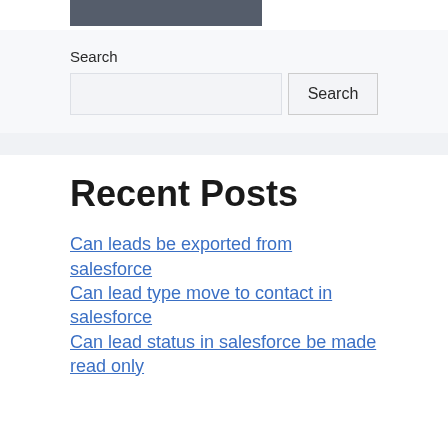[Figure (logo): Dark gray logo/header block rectangle]
Search
Search input field and Search button
Recent Posts
Can leads be exported from salesforce
Can lead type move to contact in salesforce
Can lead status in salesforce be made read only